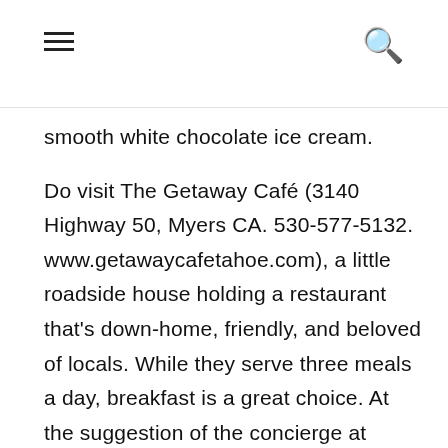[hamburger menu] [search icon]
smooth white chocolate ice cream.

Do visit The Getaway Café (3140 Highway 50, Myers CA. 530-577-5132. www.getawaycafetahoe.com), a little roadside house holding a restaurant that's down-home, friendly, and beloved of locals. While they serve three meals a day, breakfast is a great choice. At the suggestion of the concierge at Edgewood, I get mushroom soup, thick and rich and, as the concierge promised, it was the best ever. (Yes, I get mushroom soup at 9 A.M.. This is Tahoe. I'm allowed.) I